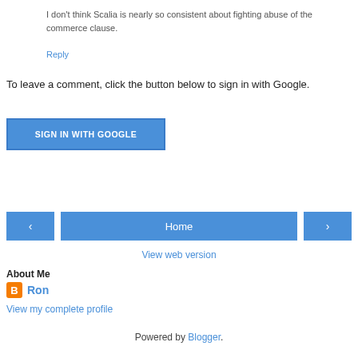I don't think Scalia is nearly so consistent about fighting abuse of the commerce clause.
Reply
To leave a comment, click the button below to sign in with Google.
SIGN IN WITH GOOGLE
Home
View web version
About Me
Ron
View my complete profile
Powered by Blogger.